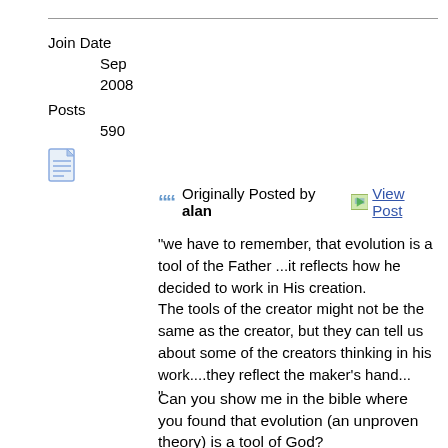Join Date
Sep 2008
Posts
590
[Figure (other): Document/notepad icon]
Originally Posted by alan  View Post
"we have to remember, that evolution is a tool of the Father ...it reflects how he decided to work in His creation.
The tools of the creator might not be the same as the creator, but they can tell us about some of the creators thinking in his work....they reflect the maker’s hand...
"
Can you show me in the bible where you found that evolution (an unproven theory) is a tool of God?